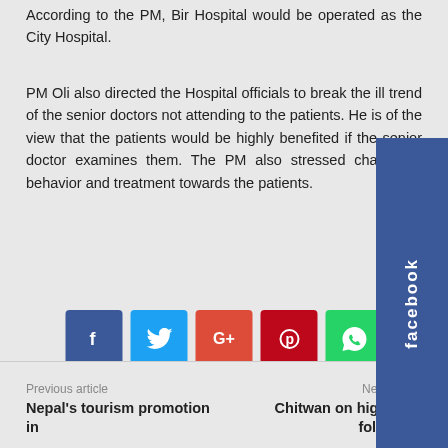According to the PM, Bir Hospital would be operated as the City Hospital.
PM Oli also directed the Hospital officials to break the ill trend of the senior doctors not attending to the patients. He is of the view that the patients would be highly benefited if the senior doctor examines them. The PM also stressed change in behavior and treatment towards the patients.
[Figure (screenshot): Facebook social media sidebar widget on the right side]
[Figure (infographic): Social share buttons: Facebook, Twitter, Google+, Pinterest, WhatsApp]
[Figure (infographic): Like and Tweet reaction buttons]
Previous article
Next article
Nepal's tourism promotion in
Chitwan on high alert following